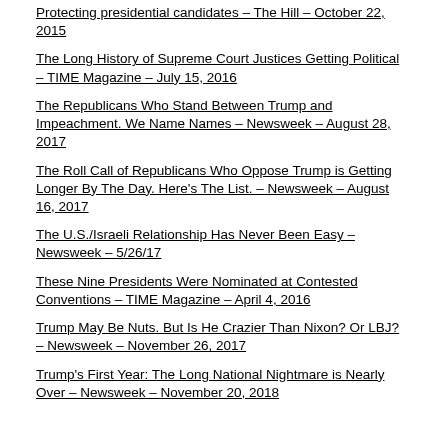Protecting presidential candidates – The Hill – October 22, 2015
The Long History of Supreme Court Justices Getting Political – TIME Magazine – July 15, 2016
The Republicans Who Stand Between Trump and Impeachment. We Name Names – Newsweek – August 28, 2017
The Roll Call of Republicans Who Oppose Trump is Getting Longer By The Day. Here's The List. – Newsweek – August 16, 2017
The U.S./Israeli Relationship Has Never Been Easy – Newsweek – 5/26/17
These Nine Presidents Were Nominated at Contested Conventions – TIME Magazine – April 4, 2016
Trump May Be Nuts. But Is He Crazier Than Nixon? Or LBJ? – Newsweek – November 26, 2017
Trump's First Year: The Long National Nightmare is Nearly Over – Newsweek – November 20, 2018